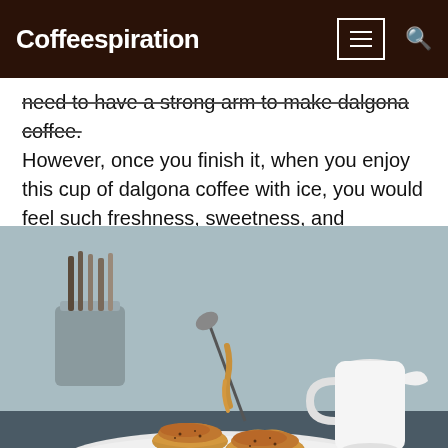Coffeespiration
need to have a strong arm to make dalgona coffee. However, once you finish it, when you enjoy this cup of dalgona coffee with ice, you would feel such freshness, sweetness, and coolness at the same time with relatively little ingredients.
[Figure (photo): Two glasses of dalgona coffee with thick caramel-colored whipped coffee foam on top of milk, with a spoon lifting foam above one glass, a small bowl of coffee grounds, cinnamon sticks, cutlery in a container, and a white ceramic jug in the background.]